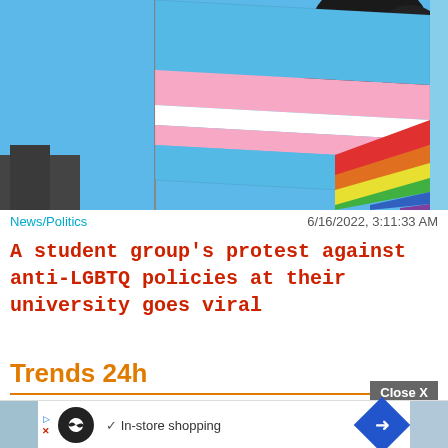[Figure (photo): Photo of a transgender pride flag (blue, pink, white stripes) flying against a clear blue sky with trees in the background, and a rainbow pride flag visible in the lower right corner.]
News/Politics
6/16/2022, 3:11:33 AM
A student group's protest against anti-LGBTQ policies at their university goes viral
Trends 24h
Close X
[Figure (screenshot): Advertisement banner showing an infinity loop icon, In-store shopping text with checkmark, and a blue diamond arrow icon.]